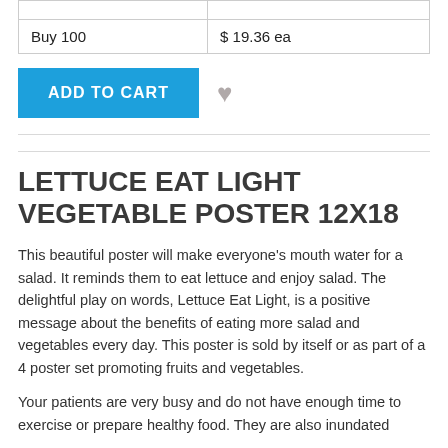|  |  |
| Buy 100 | $ 19.36 ea |
ADD TO CART
LETTUCE EAT LIGHT VEGETABLE POSTER 12X18
This beautiful poster will make everyone's mouth water for a salad. It reminds them to eat lettuce and enjoy salad. The delightful play on words, Lettuce Eat Light, is a positive message about the benefits of eating more salad and vegetables every day. This poster is sold by itself or as part of a 4 poster set promoting fruits and vegetables.
Your patients are very busy and do not have enough time to exercise or prepare healthy food. They are also inundated